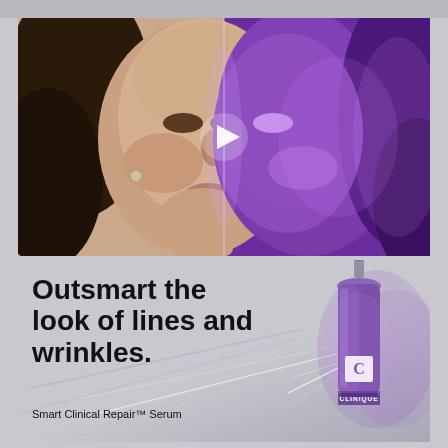[Figure (photo): Split before/after comparison photo of a woman's face. Left half shows natural lighting with visible skin texture, right half shows a purple-tinted glowing version. A white play button triangle is overlaid in the center.]
[Figure (illustration): Advertisement panel with gray/silver background and purple light streak effects. Large bold headline reads 'Outsmart the look of lines and wrinkles.' with subtext 'Smart Clinical Repair™ Serum'. A purple Clinique serum bottle is shown on the right side.]
Outsmart the look of lines and wrinkles.
Smart Clinical Repair™ Serum